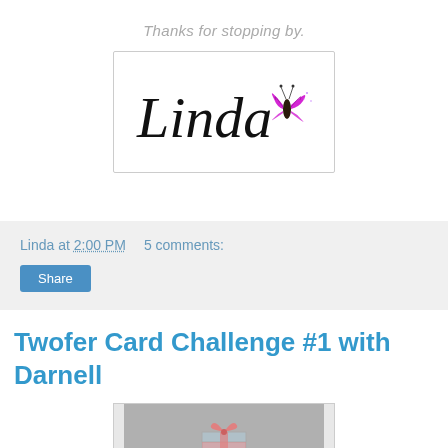Thanks for stopping by.
[Figure (illustration): Handwritten cursive 'Linda' signature with a purple butterfly graphic, displayed in a bordered box]
Linda at 2:00 PM   5 comments:
Share
Twofer Card Challenge #1 with Darnell
[Figure (photo): Partial photo showing hands holding what appears to be a wrapped gift or box, gray background]